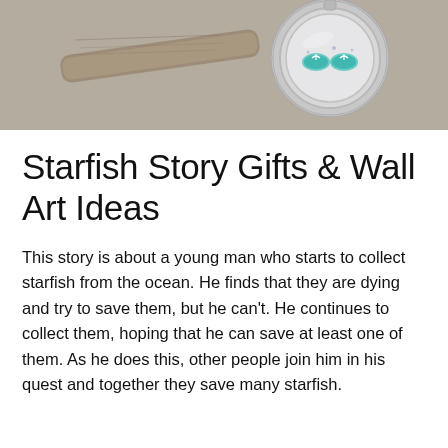[Figure (photo): Close-up photo of a silver locket/medallion with a glass face showing small turquoise flip-flop charms inside, resting on a gray fabric background with a piece of driftwood visible behind it.]
Starfish Story Gifts & Wall Art Ideas
This story is about a young man who starts to collect starfish from the ocean. He finds that they are dying and try to save them, but he can't. He continues to collect them, hoping that he can save at least one of them. As he does this, other people join him in his quest and together they save many starfish.